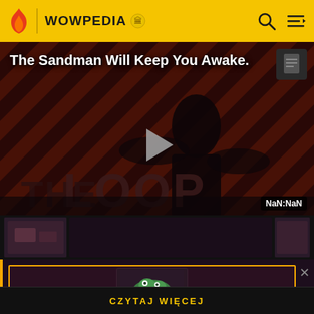WOWPEDIA
[Figure (screenshot): Wowpedia wiki website screenshot showing a video player with 'The Sandman Will Keep You Awake.' title, a play button overlay, THE LOOP branding visible in the video, NaN:NaN time display, and a thumbnail strip at the bottom. Below is an advertisement panel with an orange border showing a creature/character image, and a 'CZYTAJ WIĘCEJ' (Read More) footer bar.]